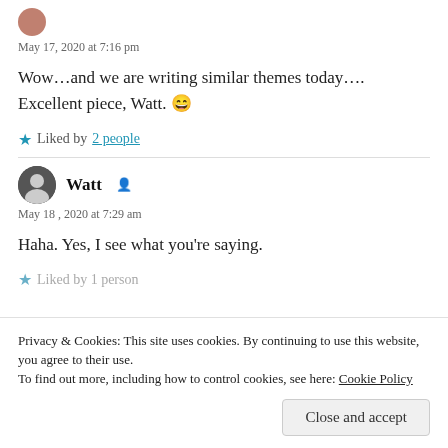May 17, 2020 at 7:16 pm
Wow…and we are writing similar themes today…. Excellent piece, Watt. 😄
★ Liked by 2 people
Watt
May 18 , 2020 at 7:29 am
Haha. Yes, I see what you're saying.
★ Liked by 1 person
Privacy & Cookies: This site uses cookies. By continuing to use this website, you agree to their use. To find out more, including how to control cookies, see here: Cookie Policy
Close and accept